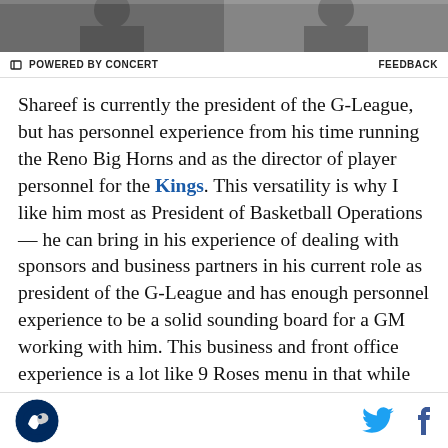[Figure (photo): Cropped photo of two people in formal attire, partially visible at top of page]
POWERED BY CONCERT   FEEDBACK
Shareef is currently the president of the G-League, but has personnel experience from his time running the Reno Big Horns and as the director of player personnel for the Kings. This versatility is why I like him most as President of Basketball Operations — he can bring in his experience of dealing with sponsors and business partners in his current role as president of the G-League and has enough personnel experience to be a solid sounding board for a GM working with him. This business and front office experience is a lot like 9 Roses menu in that while they are a Vietnamese restaurant at heart they also have an extensive
SB Nation logo, Twitter icon, Facebook icon